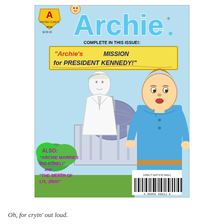[Figure (illustration): Archie Comics issue #596 cover. Light blue background. Top left: Archie Comics logo badge with '#596' and '$2.50 US'. Top center-right: large 'Archie' logo in blue with a cartoon face above it. Text reads 'COMPLETE IN THIS ISSUE!:' followed by a yellow banner saying '"Archie's MISSION for PRESIDENT KENNEDY!"'. Center: sketch/drawing of President Kennedy in white suit with the US Capitol dome behind him. Right side: cartoon Archie character in blue polo shirt. Bottom left text in purple/magenta: 'ALSO: "ARCHIE MARRIES BIG ETHEL!" AND "THE DEATH OF LI'L JINX!"'. Bottom right: barcode.]
Oh, for cryin' out loud.